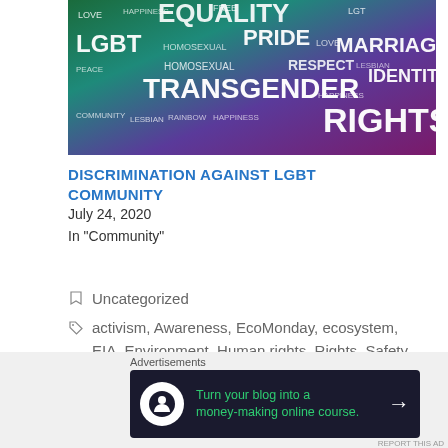[Figure (illustration): Word cloud image with LGBT rights related terms (LGBT, PRIDE, MARRIAGE, TRANSGENDER, RIGHTS, HOMOSEXUAL, RESPECT, IDENTITY, COMMUNITY, LESBIAN, RAINBOW, HAPPINESS, LOVE, FREE, etc.) on a colorful gradient background of green, teal, purple, and magenta.]
DISCRIMINATION AGAINST LGBT COMMUNITY
July 24, 2020
In "Community"
Uncategorized
activism, Awareness, EcoMonday, ecosystem, EIA, Environment, Human rights, Rights, Safety, save biodiversity, Save Ecosystem
[Figure (infographic): Advertisement banner: 'Turn your blog into a money-making online course.' with arrow, on dark background with green text and white circular logo icon.]